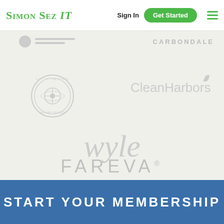Simon Sez IT | Sign In | Get Started
[Figure (logo): Partially visible logo at top left]
[Figure (logo): CARBONDALE text logo in light gray]
[Figure (logo): Circular seal emblem logo in light gray]
[Figure (logo): CleanHarbors logo in light gray]
[Figure (logo): wyle logo in large italic light gray text]
[Figure (logo): FAREVA® logo in light gray spaced letters]
START YOUR MEMBERSHIP